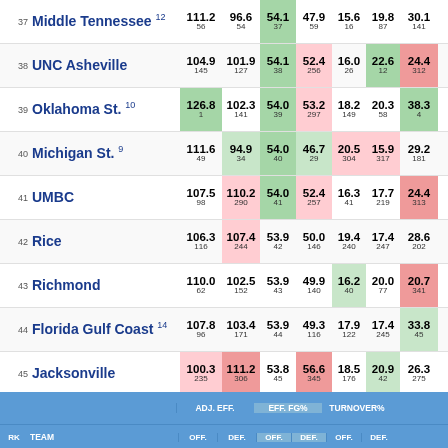| RK | TEAM | ADJ.EFF. OFF. | ADJ.EFF. DEF. | ADJ.EFF. OFF. | ADJ.EFF. DEF. | EFF.FG% OFF. | EFF.FG% DEF. | TURNOVER% OFF. | TURNOVER% DEF. |
| --- | --- | --- | --- | --- | --- | --- | --- | --- | --- |
| 37 | Middle Tennessee 12 | 111.2 56 | 96.6 54 | 54.1 37 | 47.9 59 | 15.6 16 | 19.8 87 | 30.1 141 |
| 38 | UNC Asheville | 104.9 145 | 101.9 127 | 54.1 38 | 52.4 256 | 16.0 26 | 22.6 12 | 24.4 312 |
| 39 | Oklahoma St. 10 | 126.8 1 | 102.3 141 | 54.0 39 | 53.2 297 | 18.2 149 | 20.3 58 | 38.3 4 |
| 40 | Michigan St. 9 | 111.6 49 | 94.9 34 | 54.0 40 | 46.7 29 | 20.5 304 | 15.9 317 | 29.2 181 |
| 41 | UMBC | 107.5 98 | 110.2 290 | 54.0 41 | 52.4 257 | 16.3 41 | 17.7 219 | 24.4 313 |
| 42 | Rice | 106.3 116 | 107.4 244 | 53.9 42 | 50.0 146 | 19.4 240 | 17.4 247 | 28.6 202 |
| 43 | Richmond | 110.0 62 | 102.5 152 | 53.9 43 | 49.9 140 | 16.2 40 | 20.0 77 | 20.7 341 |
| 44 | Florida Gulf Coast 14 | 107.8 96 | 103.4 171 | 53.9 44 | 49.3 116 | 17.9 122 | 17.4 245 | 33.8 45 |
| 45 | Jacksonville | 100.3 235 | 111.2 306 | 53.8 45 | 56.6 345 | 18.5 176 | 20.9 42 | 26.3 275 |
| 46 | Arizona 2 | 117.6 21 | 95.6 43 | 53.7 46 | 47.7 52 | 16.6 49 | 17.4 244 | 33.2 53 |
| 47 | Florida St. 3 | 115.4 29 | 95.2 37 | 53.7 47 | 47.9 60 | 16.4 46 | 19.5 109 | 33.8 46 |
| 48 | Ball St. | 103.6 167 | 104.5 193 | 53.7 48 | 48.7 91 | 19.9 273 | 17.2 262 | 27.8 223 |
| 49 | Notre Dame 5 | 119.3 12 | 96.4 51 | 53.6 49 | 49.1 110 | 14.0 2 | 18.7 159 | 27.3 238 |
| 50 | Marshall | 109.5 66 | 108.6 266 | 53.6 50 | 51.5 210 | 15.9 24 | 16.8 278 | 24.4 311 |